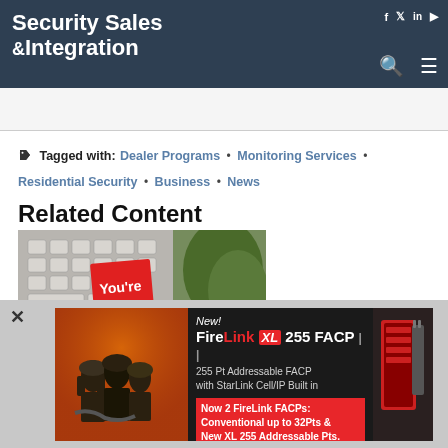Security Sales & Integration
Tagged with: Dealer Programs • Monitoring Services • Residential Security • Business • News
Related Content
[Figure (photo): Keyboard with a red 'You're' sticky note card, with green plant in background]
[Figure (photo): Advertisement for FireLink XL 255 FACP. New! FireLink XL 255 FACP. 255 Pt Addressable FACP with StarLink Cell/IP Built in. Now 2 FireLink FACPs: Conventional up to 32Pts & New XL 255 Addressable Pts. Features firefighters in background on left side.]